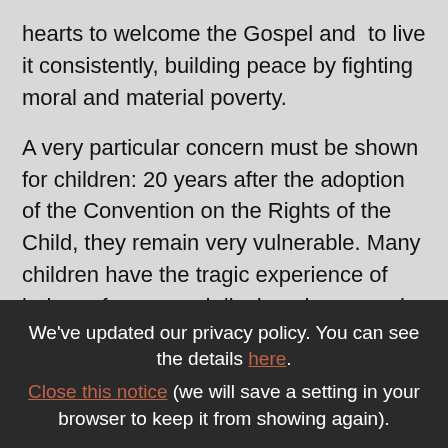hearts to welcome the Gospel and to live it consistently, building peace by fighting moral and material poverty.
A very particular concern must be shown for children: 20 years after the adoption of the Convention on the Rights of the Child, they remain very vulnerable. Many children have the tragic experience of being refugees and displaced persons in Somalia, Darfur and the Democratic Republic of Congo. There are
We've updated our privacy policy. You can see the details here. Close this notice (we will save a setting in your browser to keep it from showing again).